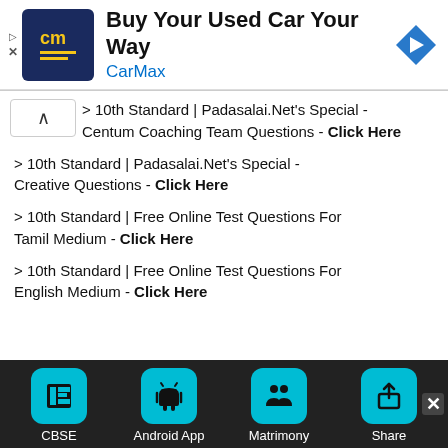[Figure (screenshot): CarMax advertisement banner with logo, headline 'Buy Your Used Car Your Way', brand name 'CarMax', and navigation arrow icon]
> 10th Standard | Padasalai.Net's Special - Centum Coaching Team Questions - Click Here
> 10th Standard | Padasalai.Net's Special - Creative Questions - Click Here
> 10th Standard | Free Online Test Questions For Tamil Medium - Click Here
> 10th Standard | Free Online Test Questions For English Medium - Click Here
[Figure (screenshot): Bottom navigation toolbar with teal icons for CBSE, Android App, Matrimony, and Share on dark background]